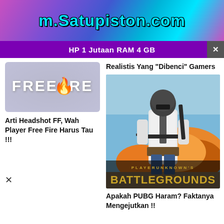m.Satupiston.com
HP 1 Jutaan RAM 4 GB
Realistis Yang “Dibenci” Gamers
[Figure (logo): Free Fire game logo on grey background]
Arti Headshot FF, Wah Player Free Fire Harus Tau !!!
x
[Figure (photo): PLAYERUNKNOWN'S BATTLEGROUNDS promotional image showing a soldier with helmet and rifle, with explosions in background]
Apakah PUBG Haram? Faktanya Mengejutkan !!